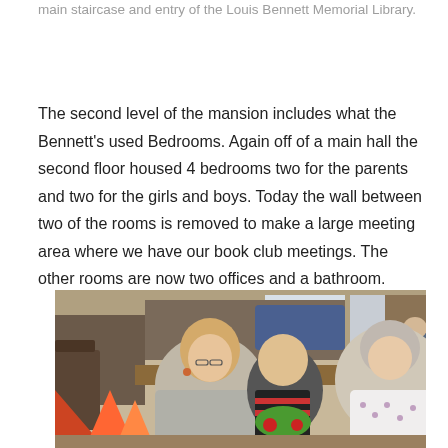main staircase and entry of the Louis Bennett Memorial Library.
The second level of the mansion includes what the Bennett's used Bedrooms. Again off of a main hall the second floor housed 4 bedrooms two for the parents and two for the girls and boys. Today the wall between two of the rooms is removed to make a large meeting area where we have our book club meetings. The other rooms are now two offices and a bathroom.
[Figure (photo): A photograph of people at what appears to be a book club meeting or library gathering. Two older women and a young boy are visible in the foreground. The boy is holding a stuffed animal toy. In the background, another person is seated at a table. Colorful paper crafts are visible in the lower left.]